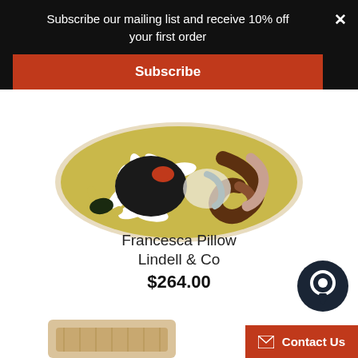Subscribe our mailing list and receive 10% off your first order
Subscribe
[Figure (photo): A decorative pillow with bold floral pattern in yellow, black, white, red, brown, and pink colors on a white background]
Francesca Pillow
Lindell & Co
$264.00
[Figure (photo): Bottom edge of a second product (appears to be a wooden or natural-toned item) partially visible at the bottom of the page]
Contact Us